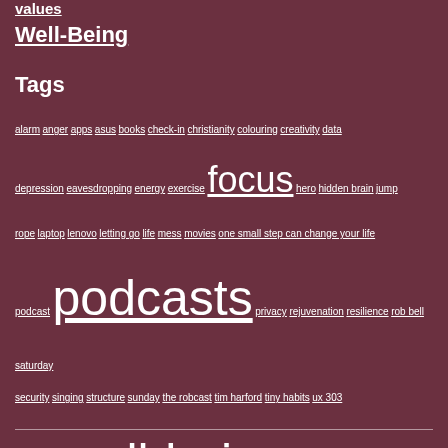values
Well-Being
Tags
alarm anger apps asus books check-in christianity colouring creativity data depression eavesdropping energy exercise focus hero hidden brain jump rope laptop lenovo letting go life mess movies one small step can change your life podcast podcasts privacy rejuvenation resilience rob bell saturday security singing structure sunday the robcast tim harford tiny habits ux 303 weekends well-being work work life balance zenbook